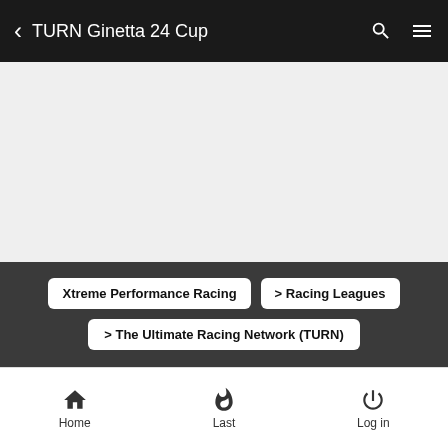TURN Ginetta 24 Cup
[Figure (screenshot): Gray empty content area placeholder]
Xtreme Performance Racing
> Racing Leagues
> The Ultimate Racing Network (TURN)
TURN Ginetta 24 Cup
Home  Last  Log in